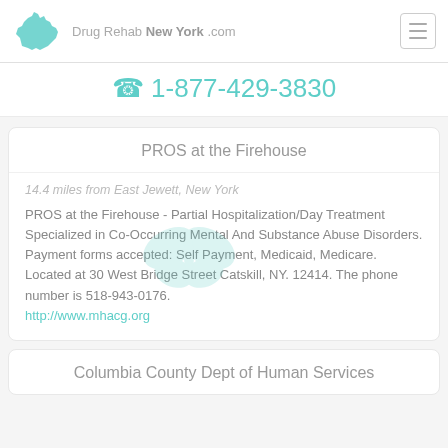Drug Rehab New York .com
1-877-429-3830
PROS at the Firehouse
14.4 miles from East Jewett, New York
PROS at the Firehouse - Partial Hospitalization/Day Treatment
Specialized in Co-Occurring Mental And Substance Abuse Disorders. Payment forms accepted: Self Payment, Medicaid, Medicare.
Located at 30 West Bridge Street Catskill, NY. 12414. The phone number is 518-943-0176.
http://www.mhacg.org
Columbia County Dept of Human Services